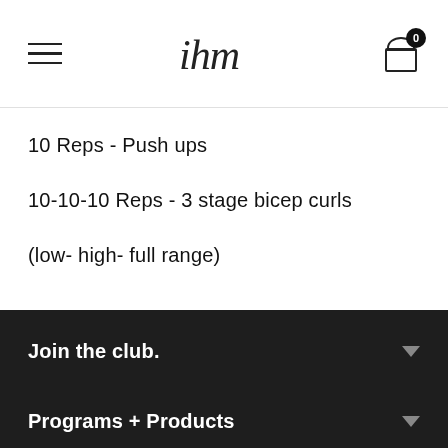ihm — navigation header with hamburger menu, logo, and cart (0)
10 Reps - Push ups
10-10-10 Reps - 3 stage bicep curls
(low- high- full range)
Join the club.
Programs + Products